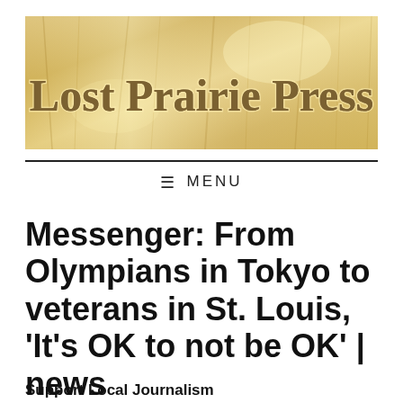[Figure (logo): Lost Prairie Press banner logo with golden wheat field background and bold serif text]
≡ MENU
Messenger: From Olympians in Tokyo to veterans in St. Louis, 'It's OK to not be OK' | news
Support Local Journalism